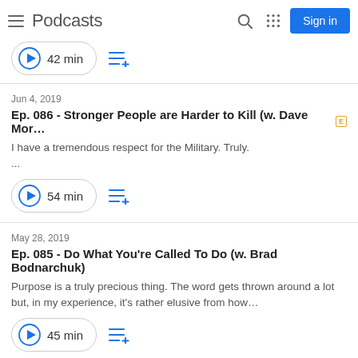Podcasts
42 min
Jun 4, 2019
Ep. 086 - Stronger People are Harder to Kill (w. Dave Mor… [E]
I have a tremendous respect for the Military. Truly.
...
54 min
May 28, 2019
Ep. 085 - Do What You're Called To Do (w. Brad Bodnarchuk)
Purpose is a truly precious thing. The word gets thrown around a lot but, in my experience, it's rather elusive from how…
45 min
Apr 23, 2019